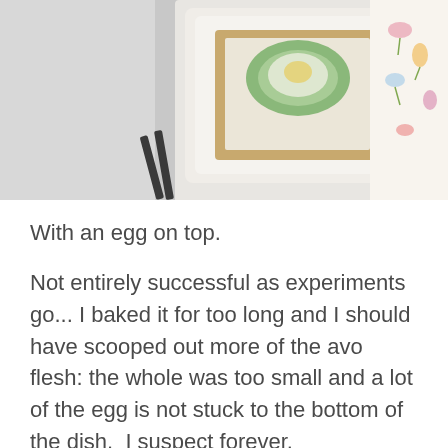[Figure (photo): Top-down photo of toasted bread on a white square plate with avocado and egg on top, cutlery beside it, and a floral patterned surface in the background.]
With an egg on top.
Not entirely successful as experiments go... I baked it for too long and I should have scooped out more of the avo flesh: the whole was too small and a lot of the egg is not stuck to the bottom of the dish.  I suspect forever.
What a surprise... I actually